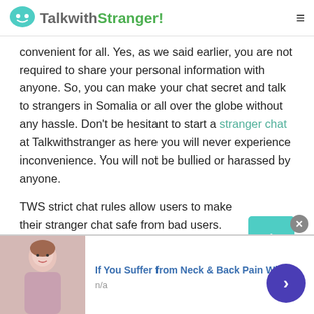TalkwithStranger!
convenient for all. Yes, as we said earlier, you are not required to share your personal information with anyone. So, you can make your chat secret and talk to strangers in Somalia or all over the globe without any hassle. Don't be hesitant to start a stranger chat at Talkwithstranger as here you will never experience inconvenience. You will not be bullied or harassed by anyone.
TWS strict chat rules allow users to make their stranger chat safe from bad users. This is all because TWS strictly prohibits adult or
[Figure (other): Advertisement banner showing a woman and text 'If You Suffer from Neck & Back Pain While' with n/a subtext]